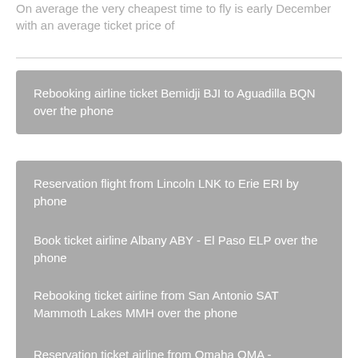On average the very cheapest time to fly is early December with an average ticket price of
Rebooking airline ticket Bemidji BJI to Aguadilla BQN over the phone
Reservation flight from Lincoln LNK to Erie ERI by phone
Book ticket airline Albany ABY - El Paso ELP over the phone
Rebooking ticket airline from San Antonio SAT Mammoth Lakes MMH over the phone
Reservation ticket airline from Omaha OMA - Bozeman BZN by the phone